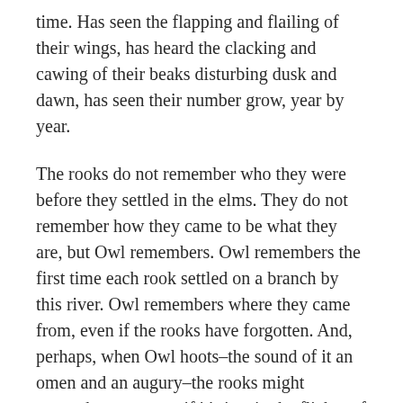time. Has seen the flapping and flailing of their wings, has heard the clacking and cawing of their beaks disturbing dusk and dawn, has seen their number grow, year by year.
The rooks do not remember who they were before they settled in the elms. They do not remember how they came to be what they are, but Owl remembers. Owl remembers the first time each rook settled on a branch by this river. Owl remembers where they came from, even if the rooks have forgotten. And, perhaps, when Owl hoots–the sound of it an omen and an augury–the rooks might remember too, even if it's just in the flicker of their dreams.
*